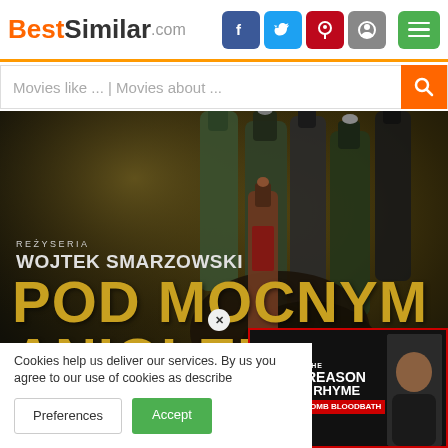[Figure (logo): BestSimilar.com logo with social media icons (Facebook, Twitter, Pinterest, Reddit) and green hamburger menu]
Movies like ... | Movies about ...
[Figure (photo): Movie poster for 'Pod Mocnym Aniolem' directed by Wojtek Smarzowski, showing hands holding multiple alcohol bottles. Text reads: REŻYSERIA, WOJTEK SMARZOWSKI, POD MOCNYM, ANIOLEM, FILM, KTÓRY ZAC]
[Figure (screenshot): Advertisement overlay: 'THE REASON I RHYME - OMB BLOODBATH' with red border and play button]
Cookies help us deliver our services. By us you agree to our use of cookies as describe
Preferences
Accept